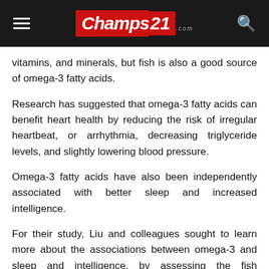Champs21.com
vitamins, and minerals, but fish is also a good source of omega-3 fatty acids.
Research has suggested that omega-3 fatty acids can benefit heart health by reducing the risk of irregular heartbeat, or arrhythmia, decreasing triglyceride levels, and slightly lowering blood pressure.
Omega-3 fatty acids have also been independently associated with better sleep and increased intelligence.
For their study, Liu and colleagues sought to learn more about the associations between omega-3 and sleep and intelligence, by assessing the fish consumption of 541 children from China aged between 9 and 11 years.